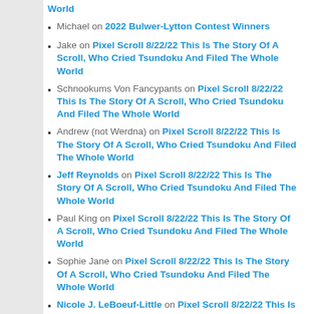(partial) ...World
Michael on 2022 Bulwer-Lytton Contest Winners
Jake on Pixel Scroll 8/22/22 This Is The Story Of A Scroll, Who Cried Tsundoku And Filed The Whole World
Schnookums Von Fancypants on Pixel Scroll 8/22/22 This Is The Story Of A Scroll, Who Cried Tsundoku And Filed The Whole World
Andrew (not Werdna) on Pixel Scroll 8/22/22 This Is The Story Of A Scroll, Who Cried Tsundoku And Filed The Whole World
Jeff Reynolds on Pixel Scroll 8/22/22 This Is The Story Of A Scroll, Who Cried Tsundoku And Filed The Whole World
Paul King on Pixel Scroll 8/22/22 This Is The Story Of A Scroll, Who Cried Tsundoku And Filed The Whole World
Sophie Jane on Pixel Scroll 8/22/22 This Is The Story Of A Scroll, Who Cried Tsundoku And Filed The Whole World
Nicole J. LeBoeuf-Little on Pixel Scroll 8/22/22 This Is The Story Of A Scroll, Who Cried Tsundoku And Filed (partial)